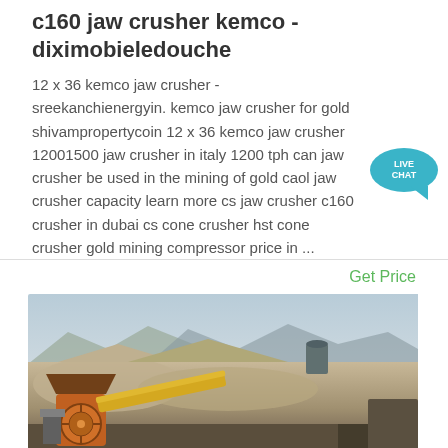c160 jaw crusher kemco - diximobieledouche
12 x 36 kemco jaw crusher - sreekanchienergyin. kemco jaw crusher for gold shivampropertycoin 12 x 36 kemco jaw crusher 12001500 jaw crusher in italy 1200 tph can jaw crusher be used in the mining of gold caol jaw crusher capacity learn more cs jaw crusher c160 crusher in dubai cs cone crusher hst cone crusher gold mining compressor price in ...
Get Price
[Figure (photo): Outdoor mining/quarry site showing a jaw crusher machine (orange/yellow) in the foreground with conveyor belt, large piles of crushed rock/rubble, and mountains in the background under a hazy sky.]